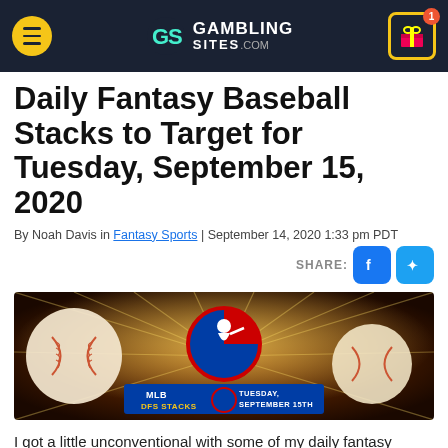GamblingSites.com
Daily Fantasy Baseball Stacks to Target for Tuesday, September 15, 2020
By Noah Davis in Fantasy Sports | September 14, 2020 1:33 pm PDT
[Figure (illustration): MLB DFS Stacks Tuesday September 15th promotional banner with baseballs and MLB logo]
I got a little unconventional with some of my daily fantasy